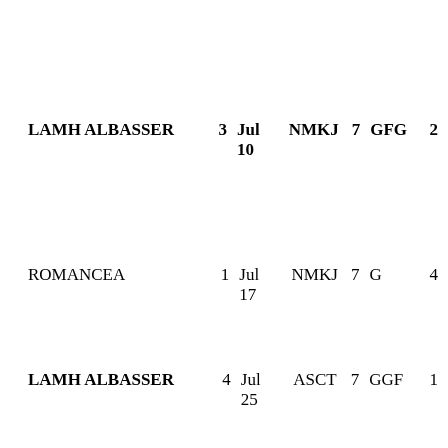LAMH ALBASSER   3   Jul 10   NMKJ   7   GFG   2
ROMANCEA   1   Jul 17   NMKJ   7   G   4
LAMH ALBASSER   4   Jul 25   ASCT   7   GGF   1